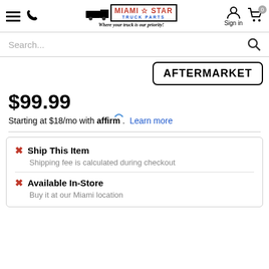Miami Star Truck Parts — Where your truck is our priority!
Search...
[Figure (logo): Aftermarket badge/label in a rounded rectangle]
$99.99
Starting at $18/mo with affirm. Learn more
Ship This Item — Shipping fee is calculated during checkout
Available In-Store — Buy it at our Miami location